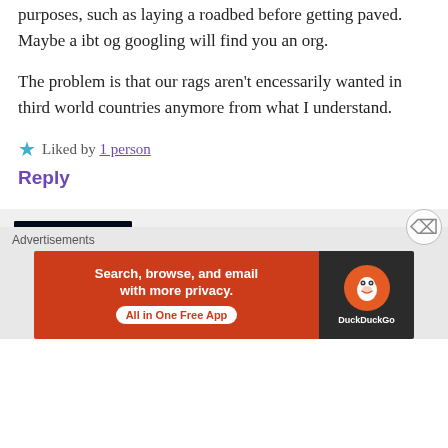purposes, such as laying a roadbed before getting paved. Maybe a ibt og googling will find you an org.
The problem is that our rags aren't encessarily wanted in third world countries anymore from what I understand.
Liked by 1 person
Reply
[Figure (photo): Avatar image of commenter Karen J showing a colorful spiral/vortex pattern on dark background]
Karen J
january 27, 2020 at 11:06 pm
Advertisements
[Figure (screenshot): DuckDuckGo advertisement banner: Search, browse, and email with more privacy. All in One Free App]